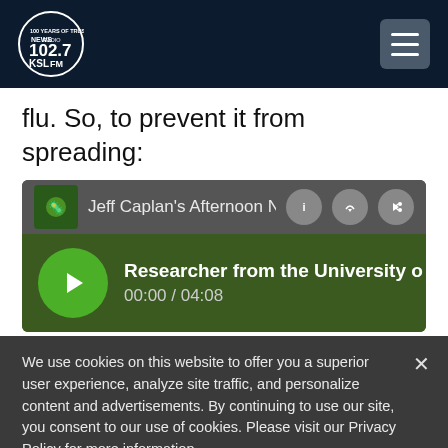[Figure (logo): KSL NewsRadio 102.7 FM logo in circular badge with header navigation showing hamburger menu]
flu. So, to prevent it from spreading:
[Figure (screenshot): Audio player widget showing 'Jeff Caplan's Afternoon News' with track 'Researcher from the University o...' at 00:00 / 04:08 with play button]
We use cookies on this website to offer you a superior user experience, analyze site traffic, and personalize content and advertisements. By continuing to use our site, you consent to our use of cookies. Please visit our Privacy Policy for more information.
Accept Cookies